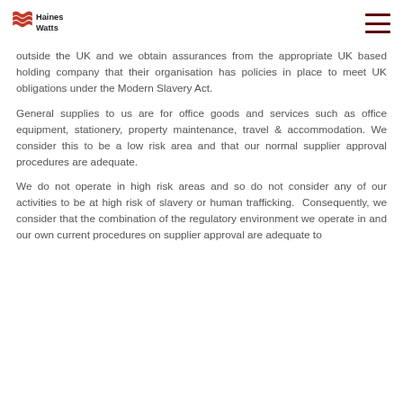Haines Watts [logo] [hamburger menu]
outside the UK and we obtain assurances from the appropriate UK based holding company that their organisation has policies in place to meet UK obligations under the Modern Slavery Act.
General supplies to us are for office goods and services such as office equipment, stationery, property maintenance, travel & accommodation. We consider this to be a low risk area and that our normal supplier approval procedures are adequate.
We do not operate in high risk areas and so do not consider any of our activities to be at high risk of slavery or human trafficking.  Consequently, we consider that the combination of the regulatory environment we operate in and our own current procedures on supplier approval are adequate to